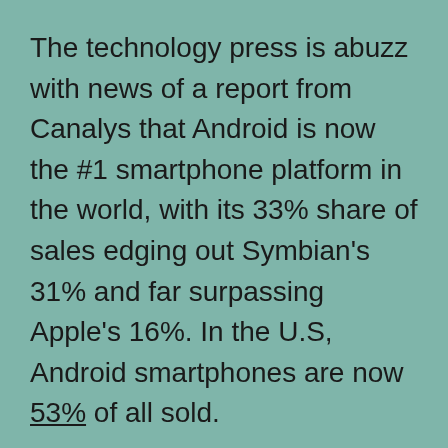The technology press is abuzz with news of a report from Canalys that Android is now the #1 smartphone platform in the world, with its 33% share of sales edging out Symbian's 31% and far surpassing Apple's 16%. In the U.S, Android smartphones are now 53% of all sold.
Once again, I was expecting this, but not so soon. As volume production of cheap Android handsets in Asia drove down prices the doom of the aging and stagnant Symbian platform was sealed, but I wasn't expecting actual market share crossover until the end of 2Q2011. Once again, Android has exceeded